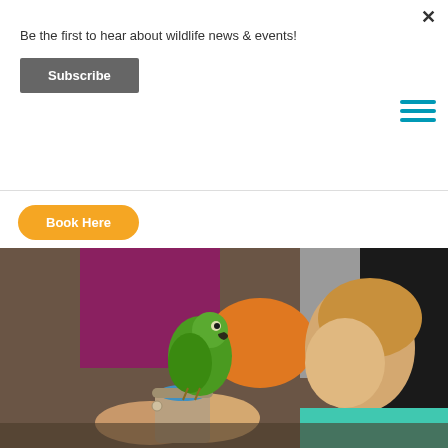Be the first to hear about wildlife news & events!
Subscribe
Book Here
[Figure (photo): A smiling young girl with blonde hair holds up a small clay pot with a green parrot perched on top. Adults are visible in the blurred background. The girl is wearing a teal shirt.]